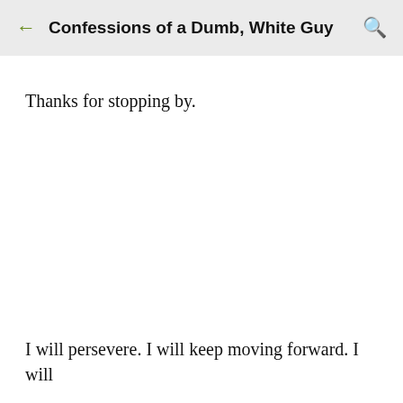Confessions of a Dumb, White Guy
Thanks for stopping by.
I will persevere. I will keep moving forward. I will